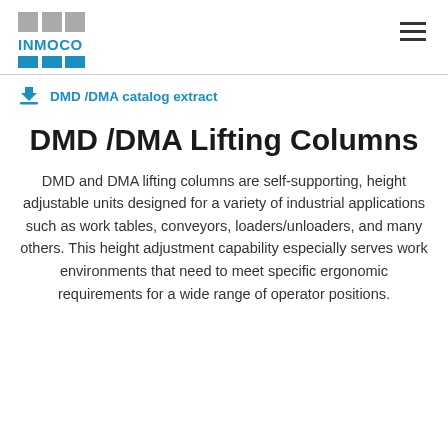INMOCO logo and navigation
DMD /DMA catalog extract
DMD /DMA Lifting Columns
DMD and DMA lifting columns are self-supporting, height adjustable units designed for a variety of industrial applications such as work tables, conveyors, loaders/unloaders, and many others. This height adjustment capability especially serves work environments that need to meet specific ergonomic requirements for a wide range of operator positions.